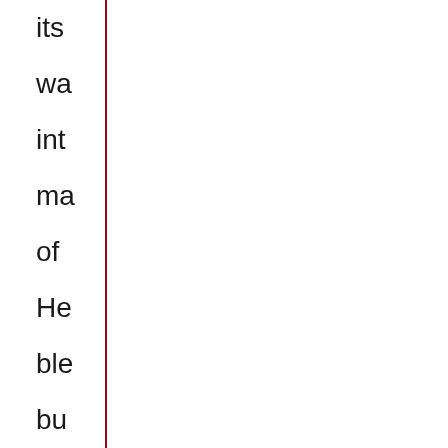its wa int ma of He ble bu Lic Ta 20 ha a he 50 co wit Zin (2: